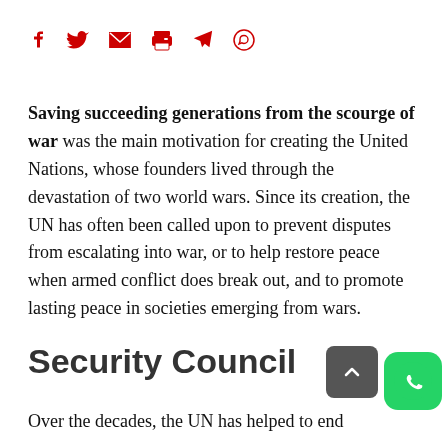[Figure (other): Social sharing icons row: Facebook, Twitter, Email, Print, Telegram, WhatsApp — all in red]
Saving succeeding generations from the scourge of war was the main motivation for creating the United Nations, whose founders lived through the devastation of two world wars. Since its creation, the UN has often been called upon to prevent disputes from escalating into war, or to help restore peace when armed conflict does break out, and to promote lasting peace in societies emerging from wars.
Security Council
Over the decades, the UN has helped to end